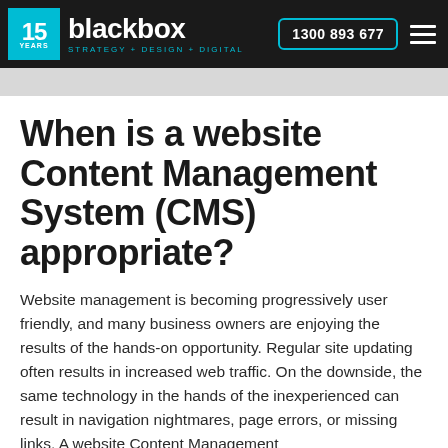blackbox STRATEGY + DESIGN + DIGITAL | 1300 893 677
When is a website Content Management System (CMS) appropriate?
Website management is becoming progressively user friendly, and many business owners are enjoying the results of the hands-on opportunity. Regular site updating often results in increased web traffic. On the downside, the same technology in the hands of the inexperienced can result in navigation nightmares, page errors, or missing links. A website Content Management